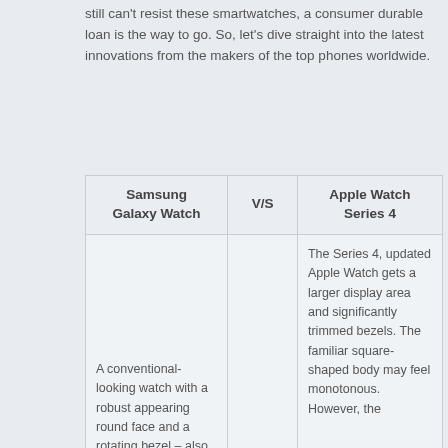still can't resist these smartwatches, a consumer durable loan is the way to go. So, let's dive straight into the latest innovations from the makers of the top phones worldwide.
| Samsung Galaxy Watch | V/S | Apple Watch Series 4 |
| --- | --- | --- |
| A conventional-looking watch with a robust appearing round face and a rotating bezel – also the device manager. Different watch sizes (42mm / 46mm) get |  | The Series 4, updated Apple Watch gets a larger display area and significantly trimmed bezels. The familiar square-shaped body may feel monotonous. However, the |